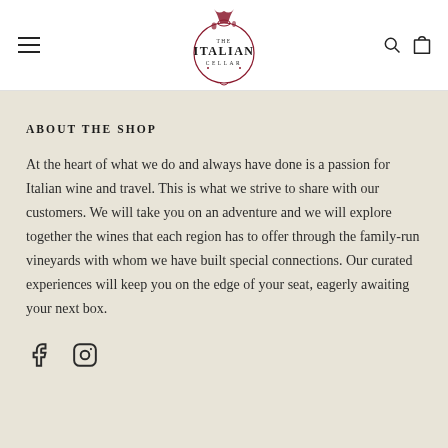[Figure (logo): The Italian Cellar logo — circular design with wine splash and text 'THE ITALIAN CELLAR' in dark red/maroon]
ABOUT THE SHOP
At the heart of what we do and always have done is a passion for Italian wine and travel. This is what we strive to share with our customers. We will take you on an adventure and we will explore together the wines that each region has to offer through the family-run vineyards with whom we have built special connections. Our curated experiences will keep you on the edge of your seat, eagerly awaiting your next box.
[Figure (illustration): Facebook and Instagram social media icons]